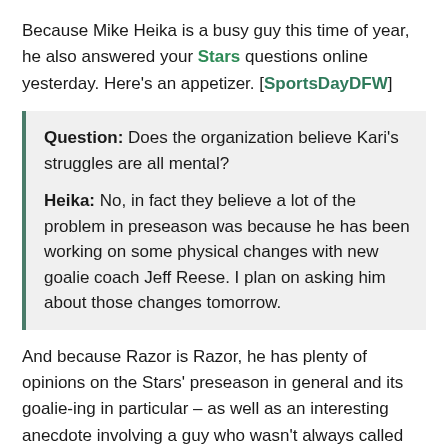Because Mike Heika is a busy guy this time of year, he also answered your Stars questions online yesterday. Here's an appetizer. [SportsDayDFW]
Question: Does the organization believe Kari's struggles are all mental?

Heika: No, in fact they believe a lot of the problem in preseason was because he has been working on some physical changes with new goalie coach Jeff Reese. I plan on asking him about those changes tomorrow.
And because Razor is Razor, he has plenty of opinions on the Stars' preseason in general and its goalie-ing in particular – as well as an interesting anecdote involving a guy who wasn't always called "Jesus Price." [Razor